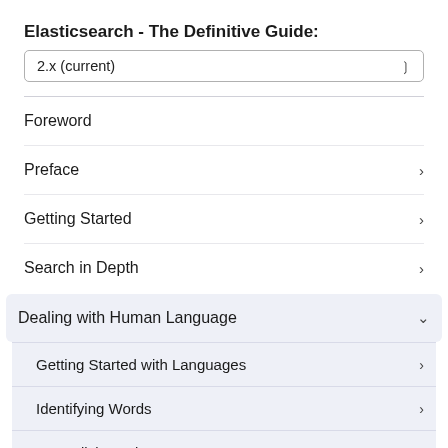Elasticsearch - The Definitive Guide:
2.x (current)
Foreword
Preface
Getting Started
Search in Depth
Dealing with Human Language
Getting Started with Languages
Identifying Words
Normalizing Tokens
Reducing Words to Their Root Form